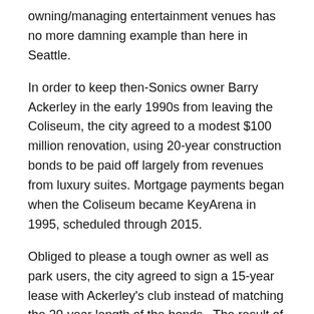owning/managing entertainment venues has no more damning example than here in Seattle.
In order to keep then-Sonics owner Barry Ackerley in the early 1990s from leaving the Coliseum, the city agreed to a modest $100 million renovation, using 20-year construction bonds to be paid off largely from revenues from luxury suites. Mortgage payments began when the Coliseum became KeyArena in 1995, scheduled through 2015.
Obliged to please a tough owner as well as park users, the city agreed to sign a 15-year lease with Ackerley's club instead of matching the 20-year length of the bonds.  The result of this profound foolishness was that when out-of-towners in 2006 bought the club, they knew the worst that could happen was a four-year wait until lease expiration in 2010, when they could move free to Oklahoma City.